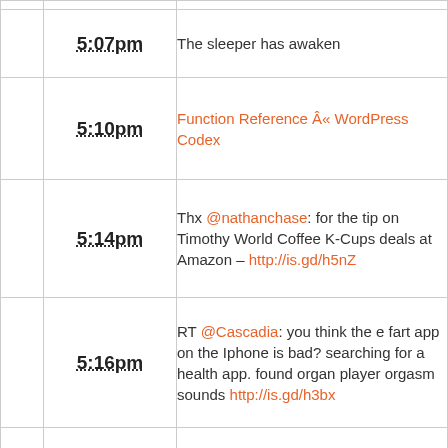|  | Time | Content |
| --- | --- | --- |
|  | 5:07pm | The sleeper has awaken |
|  | 5:10pm | Function Reference « WordPress Codex |
|  | 5:14pm | Thx @nathanchase: for the tip on Timothy World Coffee K-Cups deals at Amazon – http://is.gd/h5nZ |
|  | 5:16pm | RT @Cascadia: you think the e fart app on the Iphone is bad? searching for a health app. found organ player orgasm sounds http://is.gd/h3bx |
|  | 5:17pm | Looks like there's some sneaky folks looking for @ reply's using tactics |